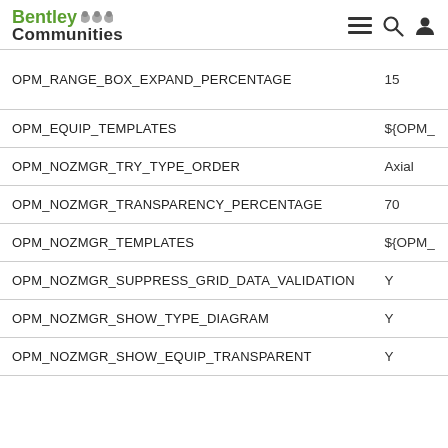Bentley Communities
| Key | Value |
| --- | --- |
| OPM_RANGE_BOX_EXPAND_PERCENTAGE | 15 |
| OPM_EQUIP_TEMPLATES | ${OPM_ |
| OPM_NOZMGR_TRY_TYPE_ORDER | Axial |
| OPM_NOZMGR_TRANSPARENCY_PERCENTAGE | 70 |
| OPM_NOZMGR_TEMPLATES | ${OPM_ |
| OPM_NOZMGR_SUPPRESS_GRID_DATA_VALIDATION | Y |
| OPM_NOZMGR_SHOW_TYPE_DIAGRAM | Y |
| OPM_NOZMGR_SHOW_EQUIP_TRANSPARENT | Y |